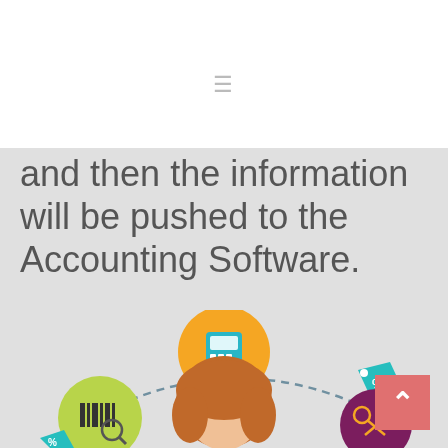≡
and then the information will be pushed to the Accounting Software.
[Figure (illustration): Infographic showing a person (woman with red/orange hair) surrounded by floating icons connected by a dashed arc: a barcode scanner icon (green circle), a payment terminal icon (yellow/orange circle), a percentage tag icon (teal), and a scissors/cut icon (dark red/maroon circle). Icons float above and around the person's head in a retail/POS context.]